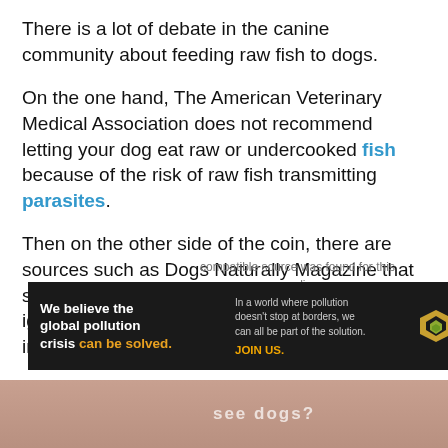There is a lot of debate in the canine community about feeding raw fish to dogs.
On the one hand, The American Veterinary Medical Association does not recommend letting your dog eat raw or undercooked fish because of the risk of raw fish transmitting parasites.
Then on the other side of the coin, there are sources such as Dogs Naturally Magazine that say the fear of parasites is one you can easily ignore as long as your dog has a healthy immune system.
[Figure (other): Advertisement banner for Pure Earth organization with text about global pollution crisis, and a partially visible video player with error message below the main text content.]